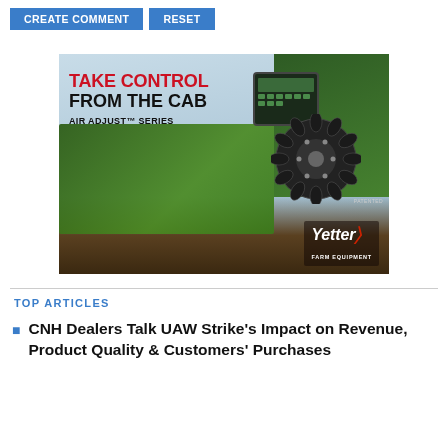CREATE COMMENT   RESET
[Figure (advertisement): Yetter Farm Equipment advertisement for Air Adjust Series. Text reads: TAKE CONTROL FROM THE CAB AIR ADJUST™ SERIES. Shows green tractor/planter equipment in field, disc blade, control panel display, and Yetter Farm Equipment logo. PATENTED noted on image.]
TOP ARTICLES
CNH Dealers Talk UAW Strike's Impact on Revenue, Product Quality & Customers' Purchases